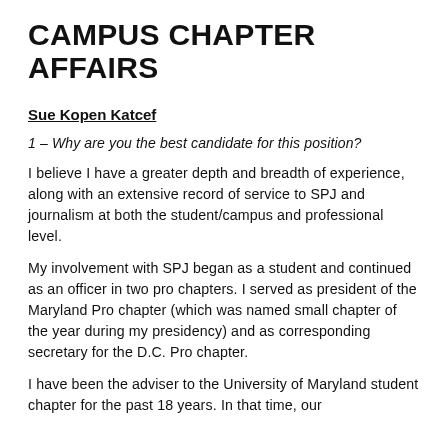CAMPUS CHAPTER AFFAIRS
Sue Kopen Katcef
1 – Why are you the best candidate for this position?
I believe I have a greater depth and breadth of experience, along with an extensive record of service to SPJ and journalism at both the student/campus and professional level.
My involvement with SPJ began as a student and continued as an officer in two pro chapters. I served as president of the Maryland Pro chapter (which was named small chapter of the year during my presidency) and as corresponding secretary for the D.C. Pro chapter.
I have been the adviser to the University of Maryland student chapter for the past 18 years. In that time, our